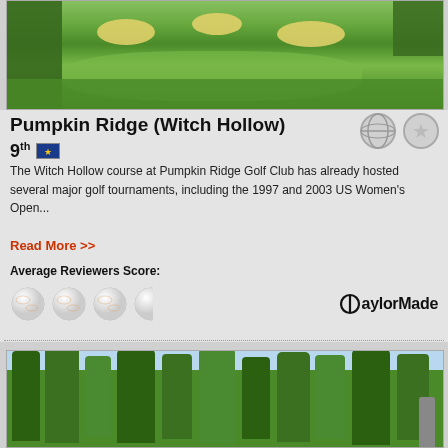[Figure (photo): Aerial view of a golf course fairway with multiple sand bunkers, green fairway grass, rough vegetation, and trees at Pumpkin Ridge Golf Club.]
Pumpkin Ridge (Witch Hollow)
9th [Oregon state flag icon]
The Witch Hollow course at Pumpkin Ridge Golf Club has already hosted several major golf tournaments, including the 1997 and 2003 US Women's Open...
Read More >>
Average Reviewers Score:
[Figure (illustration): Four golf ball icons representing reviewer score rating (approximately 3.5 out of 4), and TaylorMade logo to the right.]
[Figure (photo): Photo of a golf course fairway lined with tall green trees on both sides, with a clear sky above.]